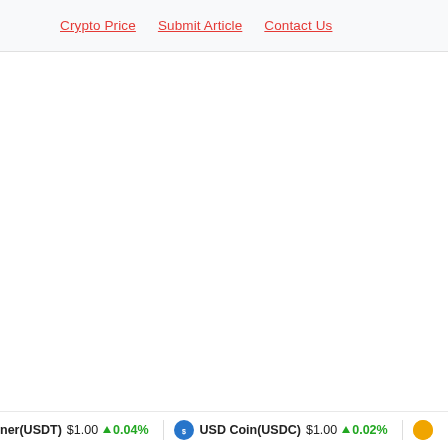Crypto Price   Submit Article   Contact Us
ner(USDT) $1.00 ↑ 0.04%   USD Coin(USDC) $1.00 ↑ 0.02%